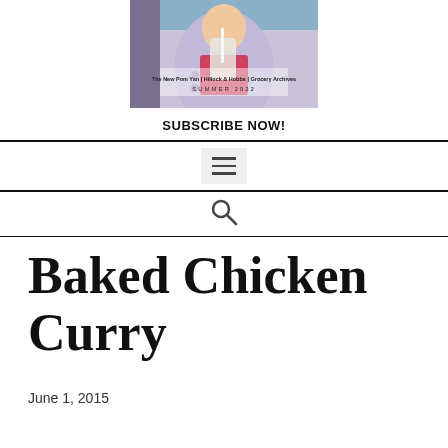[Figure (photo): Magazine cover featuring a person in a lavender cardigan holding a drink, with text 'The New Pom Yan | Hillock & Hobbs | Grocery Archives SUMMER 2022']
SUBSCRIBE NOW!
[Figure (other): Hamburger menu icon (three horizontal lines) inside a light grey box]
[Figure (other): Search (magnifying glass) icon]
Baked Chicken Curry
June 1, 2015